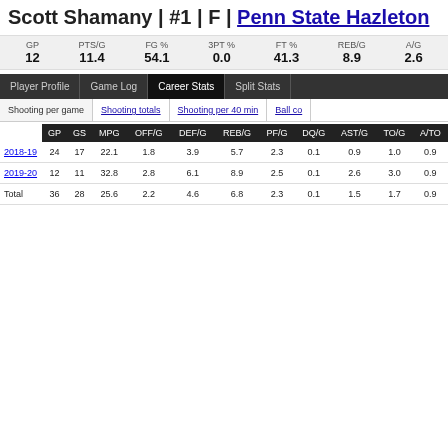Scott Shamany | #1 | F | Penn State Hazleton
| GP | PTS/G | FG % | 3PT % | FT % | REB/G | A/G |
| --- | --- | --- | --- | --- | --- | --- |
| 12 | 11.4 | 54.1 | 0.0 | 41.3 | 8.9 | 2.6 |
Player Profile | Game Log | Career Stats | Split Stats
Shooting per game | Shooting totals | Shooting per 40 min | Ball co...
|  | GP | GS | MPG | OFF/G | DEF/G | REB/G | PF/G | DQ/G | AST/G | TO/G | A/TO |
| --- | --- | --- | --- | --- | --- | --- | --- | --- | --- | --- | --- |
| 2018-19 | 24 | 17 | 22.1 | 1.8 | 3.9 | 5.7 | 2.3 | 0.1 | 0.9 | 1.0 | 0.9 |
| 2019-20 | 12 | 11 | 32.8 | 2.8 | 6.1 | 8.9 | 2.5 | 0.1 | 2.6 | 3.0 | 0.9 |
| Total | 36 | 28 | 25.6 | 2.2 | 4.6 | 6.8 | 2.3 | 0.1 | 1.5 | 1.7 | 0.9 |